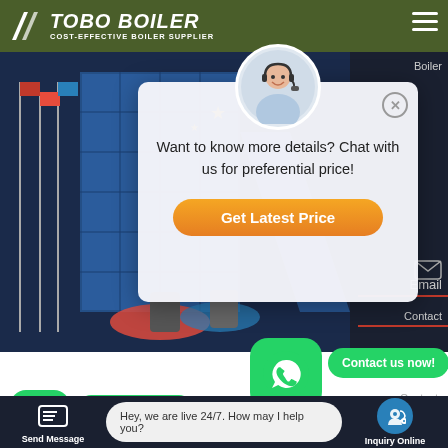TOBO BOILER - COST-EFFECTIVE BOILER SUPPLIER
[Figure (screenshot): Hero image showing a modern industrial building with flagpoles and blue architectural elements, with boiler equipment in the foreground, dark blue background]
[Figure (infographic): Chat popup overlay with customer service representative avatar, text 'Want to know more details? Chat with us for preferential price!' and orange 'Get Latest Price' button. Gold stars decorating the popup background.]
Want to know more details? Chat with us for preferential price!
Get Latest Price
Boiler
Email
Contact
hartford loop steam boiler Age
Contact us now!
Contact us now!
Hey, we are live 24/7. How may I help you?
Send Message
Inquiry Online